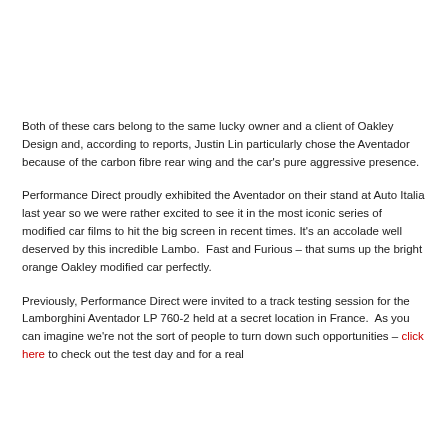Both of these cars belong to the same lucky owner and a client of Oakley Design and, according to reports, Justin Lin particularly chose the Aventador because of the carbon fibre rear wing and the car's pure aggressive presence.
Performance Direct proudly exhibited the Aventador on their stand at Auto Italia last year so we were rather excited to see it in the most iconic series of modified car films to hit the big screen in recent times. It's an accolade well deserved by this incredible Lambo.  Fast and Furious – that sums up the bright orange Oakley modified car perfectly.
Previously, Performance Direct were invited to a track testing session for the Lamborghini Aventador LP 760-2 held at a secret location in France.  As you can imagine we're not the sort of people to turn down such opportunities – click here to check out the test day and for a real